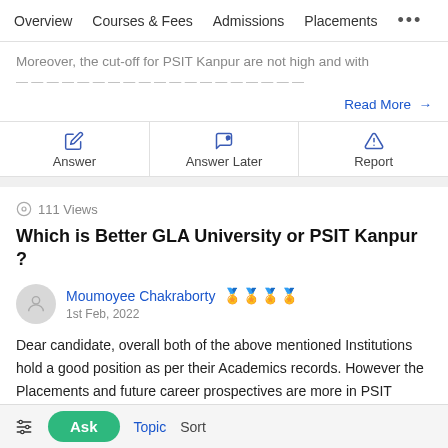Overview   Courses & Fees   Admissions   Placements  ...
Moreover, the cut-off for PSIT Kanpur are not high and with
Read More →
Answer   Answer Later   Report
111 Views
Which is Better GLA University or PSIT Kanpur ?
Moumoyee Chakraborty  1st Feb, 2022
Dear candidate, overall both of the above mentioned Institutions hold a good position as per their Academics records. However the Placements and future career prospectives are more in PSIT Kanpur than GLA University.
Ask   Topic   Sort